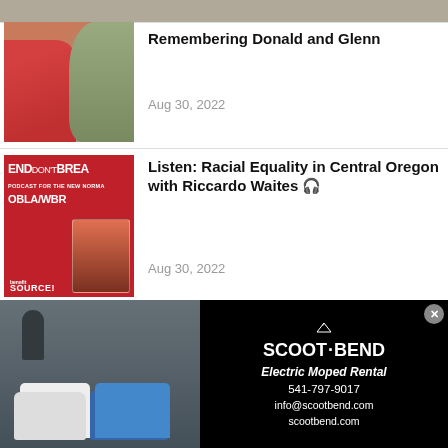[Figure (photo): Top stub showing partial image of outdoor/nature scene]
[Figure (photo): Thumbnail photo of a man and woman posing together, woman in red, man in grey suit]
Remembering Donald and Glenn
Aug 30, 2022
[Figure (photo): Red podcast promotional image for BEND DON'T BREAK podcast, OBLA/WBR, SOURCE!, featuring Riccardo Waites]
Listen: Racial Equality in Central Oregon with Riccardo Waites 🎧
Aug 30, 2022
[Figure (photo): Advertisement for Scoot Bend Electric Moped Rental showing two people with electric mopeds]
SCOOT·BEND
Electric Moped Rental
541-797-9017
info@scootbend.com
scootbend.com